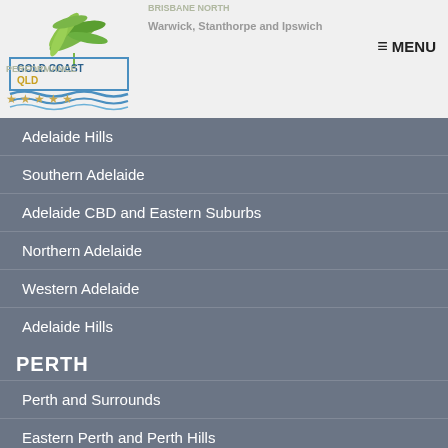[Figure (logo): Gold Coast QLD logo with green leaf and blue wave design]
≡ MENU
Adelaide Hills
Southern Adelaide
Adelaide CBD and Eastern Suburbs
Northern Adelaide
Western Adelaide
Adelaide Hills
PERTH
Perth and Surrounds
Eastern Perth and Perth Hills
Northern Perth
Perth CBD and Inner Suburbs
South Eastern Perth